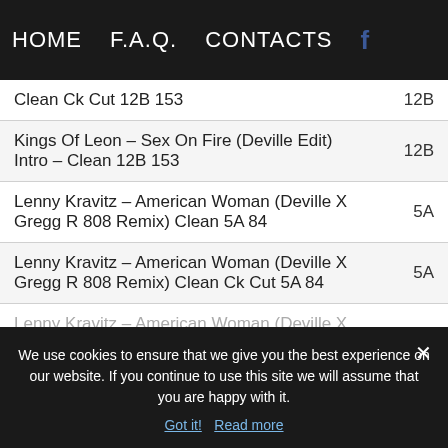HOME   F.A.Q.   CONTACTS   f
| Track | Key |
| --- | --- |
| Clean Ck Cut 12B 153 | 12B |
| Kings Of Leon – Sex On Fire (Deville Edit) Intro – Clean 12B 153 | 12B |
| Lenny Kravitz – American Woman (Deville X Gregg R 808 Remix) Clean 5A 84 | 5A |
| Lenny Kravitz – American Woman (Deville X Gregg R 808 Remix) Clean Ck Cut 5A 84 | 5A |
| Lenny Kravitz – American Woman (Deville X Gregg R 808 Remix) Clean Hype Edit 5A 84 | 5A |
| Lenny Kravitz – American Woman (Deville X Gregg R 808 Remix) Clean Hype Edit Ck Cut 5A 84 | 5A |
We use cookies to ensure that we give you the best experience on our website. If you continue to use this site we will assume that you are happy with it.
Got it!  Read more